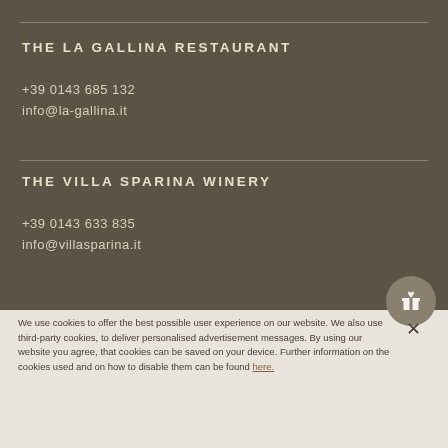THE LA GALLINA RESTAURANT
+39 0143 685 132
info@la-gallina.it
THE VILLA SPARINA WINERY
+39 0143 633 835
info@villasparina.it
[Figure (illustration): Gift/present icon button in a circular gray button in the lower right area of the dark background section]
We use cookies to offer the best possible user experience on our website. We also use third-party cookies, to deliver personalised advertisement messages. By using our website you agree, that cookies can be saved on your device. Further information on the cookies used and on how to disable them can be found here.